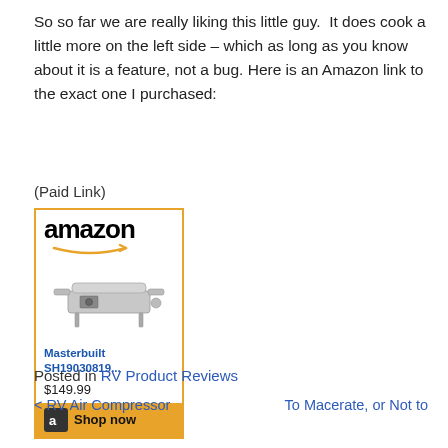So so far we are really liking this little guy.  It does cook a little more on the left side – which as long as you know about it is a feature, not a bug. Here is an Amazon link to the exact one I purchased:
(Paid Link)
[Figure (other): Amazon product widget showing Masterbuilt SH19030819... portable grill priced at $149.99 with a Shop now button]
Posted in RV Product Reviews
< RV Air Compressor    To Macerate, or Not to